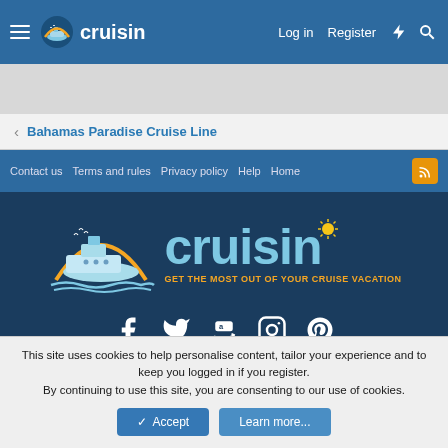cruisin — Log in  Register
Bahamas Paradise Cruise Line
Contact us  Terms and rules  Privacy policy  Help  Home
[Figure (logo): Cruisin logo with cruise ship inside golden arc, large blue text 'cruisin' with sun icon, tagline 'GET THE MOST OUT OF YOUR CRUISE VACATION' in orange]
[Figure (infographic): Social media icons row: Facebook, Twitter, Amazon, Instagram, Pinterest — all white on dark blue background]
Copyright © 2011-2022 CRUISIN. All Rights Reserved.
This site uses cookies to help personalise content, tailor your experience and to keep you logged in if you register.
By continuing to use this site, you are consenting to our use of cookies.
✓ Accept   Learn more...